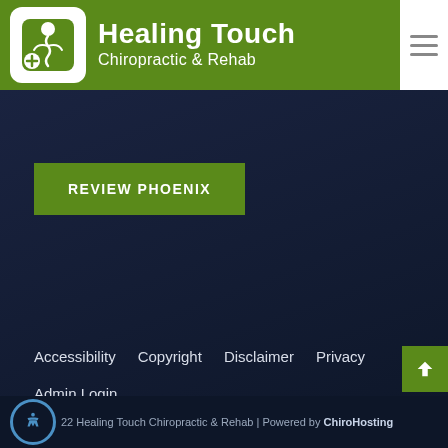Healing Touch Chiropractic & Rehab
[Figure (logo): Healing Touch Chiropractic & Rehab logo with spine/hand icon in white rounded square on green background]
REVIEW PHOENIX
Accessibility   Copyright   Disclaimer   Privacy
Admin Login
022 Healing Touch Chiropractic & Rehab | Powered by ChiroHosting